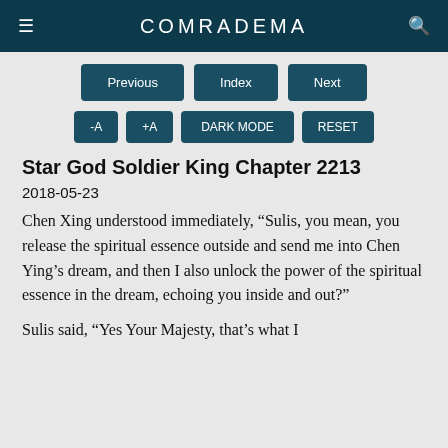COMRADEMA
[Figure (screenshot): Navigation buttons: Previous, Index, Next]
[Figure (screenshot): Tool buttons: -A, +A, DARK MODE, RESET]
Star God Soldier King Chapter 2213
2018-05-23
Chen Xing understood immediately, “Sulis, you mean, you release the spiritual essence outside and send me into Chen Ying’s dream, and then I also unlock the power of the spiritual essence in the dream, echoing you inside and out?”
Sulis said, “Yes Your Majesty, that’s what I